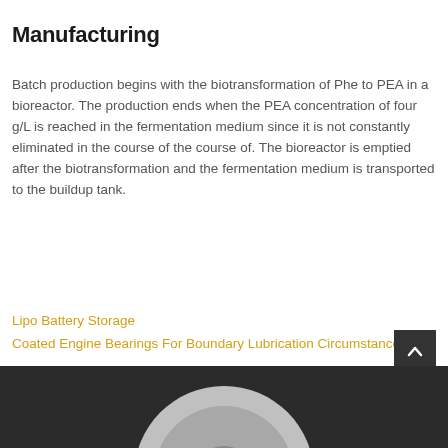Manufacturing
Batch production begins with the biotransformation of Phe to PEA in a bioreactor. The production ends when the PEA concentration of four g/L is reached in the fermentation medium since it is not constantly eliminated in the course of the course of. The bioreactor is emptied after the biotransformation and the fermentation medium is transported to the buildup tank.
Lipo Battery Storage
Coated Engine Bearings For Boundary Lubrication Circumstances
[Figure (illustration): Dark background with a circular grey gear or disc element partially visible at the bottom of the page]